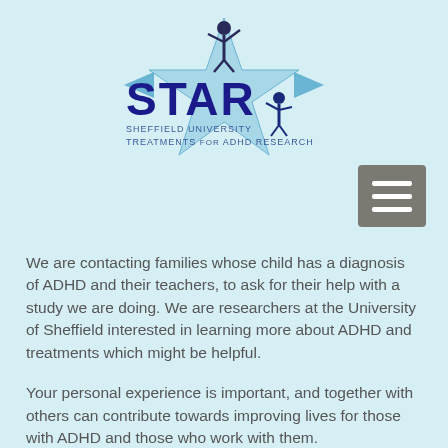[Figure (logo): STAR logo with star shape and three human figures, text reading 'STAR' in large blue letters and 'Sheffield University Treatments for ADHD Research' below]
[Figure (other): Hamburger menu button - grey square with three white horizontal bars]
We are contacting families whose child has a diagnosis of ADHD and their teachers, to ask for their help with a study we are doing. We are researchers at the University of Sheffield interested in learning more about ADHD and treatments which might be helpful.
Your personal experience is important, and together with others can contribute towards improving lives for those with ADHD and those who work with them.